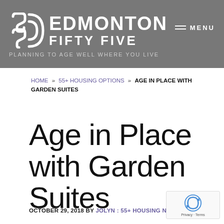[Figure (logo): Edmonton Fifty Five website header with logo, site name, tagline 'PLANNING TO AGE WELL WHERE YOU LIVE', and MENU button on grey background]
HOME » 55+ HOUSING OPTIONS » AGE IN PLACE WITH GARDEN SUITES
Age in Place with Garden Suites
OCTOBER 29, 2018 BY JOLYN : 55+ HOUSING NAVIGATOR